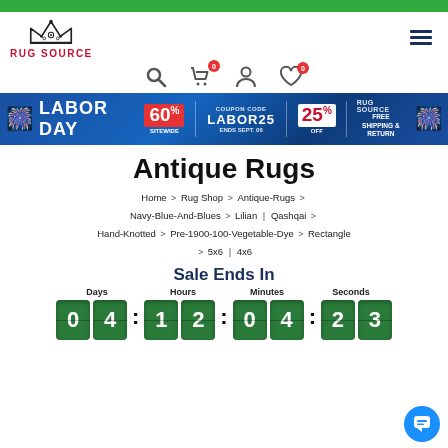Rug Source
[Figure (screenshot): Labor Day sale banner: 60% off sitewide, coupon code LABOR25 for 25% off, ends Sept 06, free shipping and return]
Antique Rugs
Home > Rug Shop > Antique-Rugs > Navy-Blue-And-Blues > Lilian | Qashqai > Hand-Knotted > Pre-1900-100-Vegetable-Dye > Rectangle > 5x6 | 4x6
Sale Ends In
Days: 04  Hours: 12  Minutes: 04  Seconds: 23